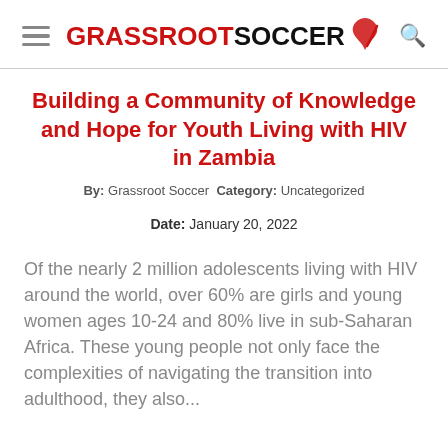GRASSROOTSOCCER
Building a Community of Knowledge and Hope for Youth Living with HIV in Zambia
By: Grassroot Soccer Category: Uncategorized
Date: January 20, 2022
Of the nearly 2 million adolescents living with HIV around the world, over 60% are girls and young women ages 10-24 and 80% live in sub-Saharan Africa. These young people not only face the complexities of navigating the transition into adulthood, they also...